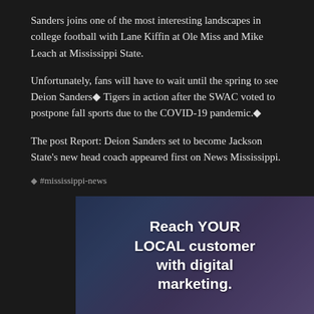Sanders joins one of the most interesting landscapes in college football with Lane Kiffin at Ole Miss and Mike Leach at Mississippi State.
Unfortunately, fans will have to wait until the spring to see Deion Sanders◆ Tigers in action after the SWAC voted to postpone fall sports due to the COVID-19 pandemic.◆
The post Report: Deion Sanders set to become Jackson State's new head coach appeared first on News Mississippi.
◆#mississippi-news
[Figure (advertisement): Advertisement banner with dark blue-purple background showing text: Reach YOUR LOCAL customer with digital marketing.]